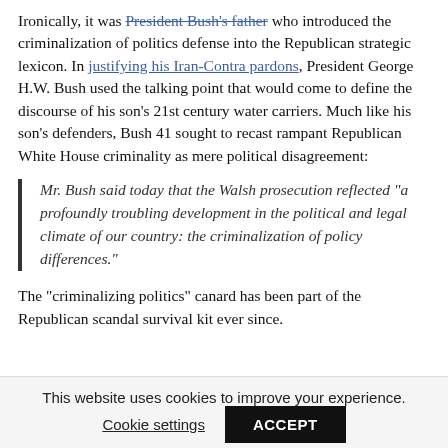Ironically, it was President Bush's father who introduced the criminalization of politics defense into the Republican strategic lexicon. In justifying his Iran-Contra pardons, President George H.W. Bush used the talking point that would come to define the discourse of his son's 21st century water carriers. Much like his son's defenders, Bush 41 sought to recast rampant Republican White House criminality as mere political disagreement:
Mr. Bush said today that the Walsh prosecution reflected "a profoundly troubling development in the political and legal climate of our country: the criminalization of policy differences."
The "criminalizing politics" canard has been part of the Republican scandal survival kit ever since.
This website uses cookies to improve your experience.
Cookie settings
ACCEPT